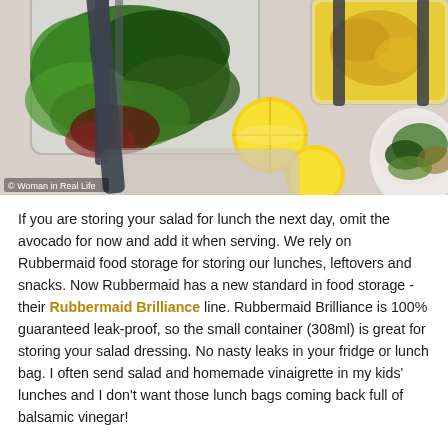[Figure (photo): Overhead view of Rubbermaid Brilliance food storage containers filled with green salad and orange dressing, alongside sliced lemons and a bowl of salad on a marble surface. Watermark reads '© Woman in Real Life'.]
If you are storing your salad for lunch the next day, omit the avocado for now and add it when serving. We rely on Rubbermaid food storage for storing our lunches, leftovers and snacks. Now Rubbermaid has a new standard in food storage - their Rubbermaid Brilliance line. Rubbermaid Brilliance is 100% guaranteed leak-proof, so the small container (308ml) is great for storing your salad dressing. No nasty leaks in your fridge or lunch bag. I often send salad and homemade vinaigrette in my kids' lunches and I don't want those lunch bags coming back full of balsamic vinegar!